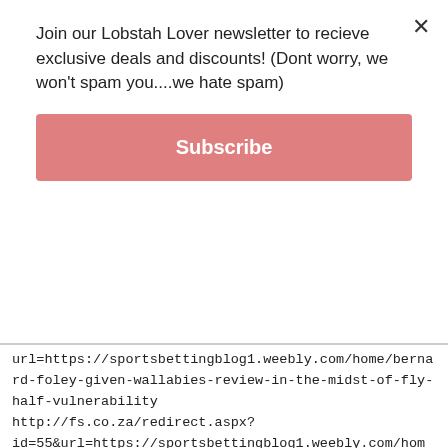Join our Lobstah Lover newsletter to recieve exclusive deals and discounts! (Dont worry, we won't spam you....we hate spam)
Subscribe
url=https://sportsbettingblog1.weebly.com/home/bernard-foley-given-wallabies-review-in-the-midst-of-fly-half-vulnerability http://fs.co.za/redirect.aspx?id=55&url=https://sportsbettingblog1.weebly.com/home/bernard-foley-given-wallabies-review-in-the-midst-of-fly-half-vulnerability http://www.amateurinterracial.biz/cgi-bin/atc/out.cgi?id=34&u=https://sportsbettingblog1.weebly.com/home/bernard-foley-given-wallabies-review-in-the-midst-of-fly-half-vulnerability